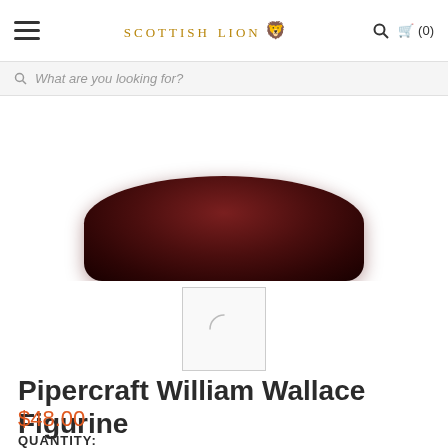Scottish Lion (0)
What are you looking for?
[Figure (photo): Partial view of a dark reddish-brown leather or ceramic product base (William Wallace Figurine), cropped at top of page]
[Figure (photo): Small thumbnail image placeholder showing a loading spinner arc on light background]
Pipercraft William Wallace Figurine
$48.00
QUANTITY: